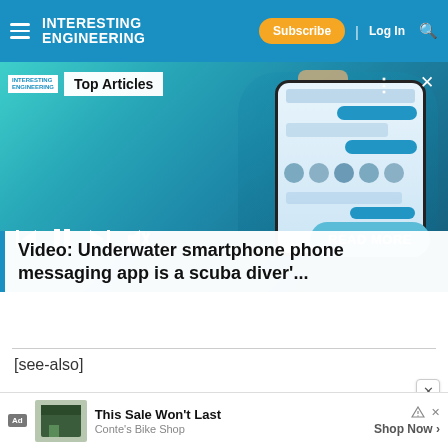INTERESTING ENGINEERING — Subscribe | Log In
[Figure (screenshot): Screenshot of a website showing a video thumbnail of a person holding a smartphone underwater with a messaging app visible on screen, video player controls at bottom, and a 'READ MORE' button. A 'Top Articles' label is overlaid at the top.]
Video: Underwater smartphone messaging app is a scuba diver'...
[see-also]
[Figure (screenshot): Advertisement: 'This Sale Won't Last' by Conte's Bike Shop with a 'Shop Now' link]